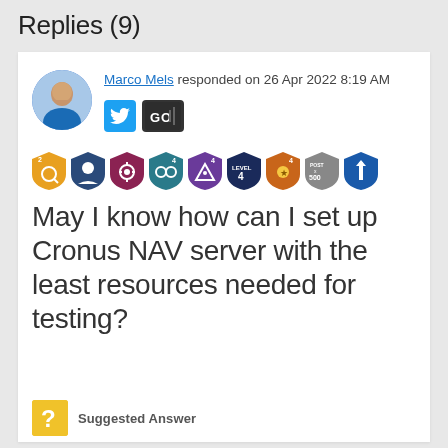Replies (9)
Marco Mels responded on 26 Apr 2022 8:19 AM
[Figure (other): User avatar photo of Marco Mels, a circular profile picture]
[Figure (other): Social media icons: Twitter bird icon and GO badge icon]
[Figure (other): Row of achievement/community badges: 9 shield-shaped badges with various icons and colors]
May I know how can I set up Cronus NAV server with the least resources needed for testing?
[Figure (other): Yellow question mark icon indicating Suggested Answer]
Suggested Answer
Hello,